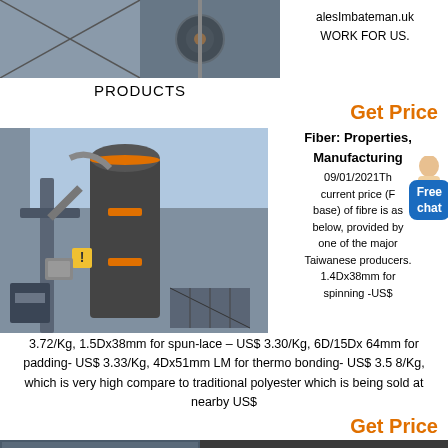[Figure (photo): Industrial machinery/equipment photo at top left]
alesImbateman.uk
WORK FOR US.
PRODUCTS
Get Price
[Figure (photo): Industrial mill/grinder machinery photo]
Fiber: Properties, Manufacturing 09/01/2021Th current price (F base) of fibre is as below, provided by one of the major Taiwanese producers. 1.4Dx38mm for spinning -US$ 3.72/Kg, 1.5Dx38mm for spun-lace – US$ 3.30/Kg, 6D/15Dx 64mm for padding- US$ 3.33/Kg, 4Dx51mm LM for thermo bonding- US$ 3.5 8/Kg, which is very high compare to traditional polyester which is being sold at nearby US$
Get Price
[Figure (photo): Bottom strip industrial image]